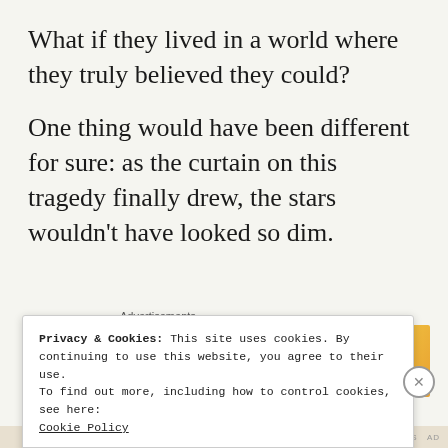What if they lived in a world where they truly believed they could?
One thing would have been different for sure: as the curtain on this tragedy finally drew, the stars wouldn't have looked so dim.
[Figure (other): Advertisement banner showing overlapping cards/logos including Meta and Facebook branding]
Privacy & Cookies: This site uses cookies. By continuing to use this website, you agree to their use.
To find out more, including how to control cookies, see here:
Cookie Policy
Close and accept